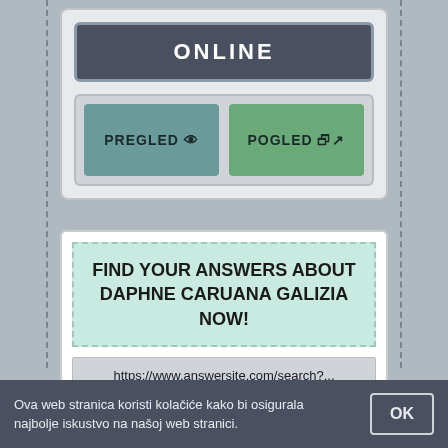[Figure (screenshot): Online status bar showing dark grey rectangle with text ONLINE in white bold letters]
[Figure (screenshot): Two buttons side by side: PREGLED with eye icon (teal) and POGLED with external link icon (green)]
FIND YOUR ANSWERS ABOUT DAPHNE CARUANA GALIZIA NOW!
https://www.answersite.com/search?...
AnswerSite is a place to get your questions answered. Ask questions and find quality answers
Ova web stranica koristi kolačiće kako bi osigurala najbolje iskustvo na našoj web stranici.